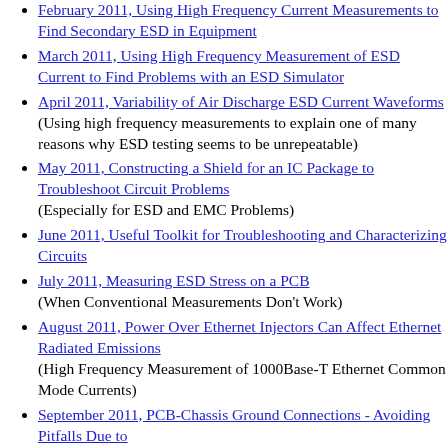February 2011, Using High Frequency Current Measurements to Find Secondary ESD in Equipment
March 2011, Using High Frequency Measurement of ESD Current to Find Problems with an ESD Simulator
April 2011, Variability of Air Discharge ESD Current Waveforms (Using high frequency measurements to explain one of many reasons why ESD testing seems to be unrepeatable)
May 2011, Constructing a Shield for an IC Package to Troubleshoot Circuit Problems (Especially for ESD and EMC Problems)
June 2011, Useful Toolkit for Troubleshooting and Characterizing Circuits
July 2011, Measuring ESD Stress on a PCB (When Conventional Measurements Don't Work)
August 2011, Power Over Ethernet Injectors Can Affect Ethernet Radiated Emissions (High Frequency Measurement of 1000Base-T Ethernet Common Mode Currents)
September 2011, PCB-Chassis Ground Connections - Avoiding Pitfalls Due to Unintended System Resonances